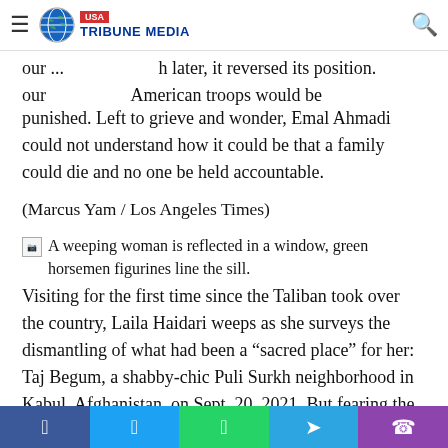USA Tribune Media
our ... h later, it reversed its position. ... American troops would be punished. Left to grieve and wonder, Emal Ahmadi could not understand how it could be that a family could die and no one be held accountable.
(Marcus Yam / Los Angeles Times)
[Figure (photo): A weeping woman is reflected in a window, green horsemen figurines line the sill. (broken image placeholder shown)]
Visiting for the first time since the Taliban took over the country, Laila Haidari weeps as she surveys the dismantling of what had been a “sacred place” for her: Taj Begum, a shabby-chic Puli Surkh neighborhood in Kabul, Afghanistan, on Sept. 20, 2021. But fearing the Taliban’s wrath, Haidari shut down her cafe in August. The cafe, a
Facebook  Twitter  WhatsApp  Telegram  Phone